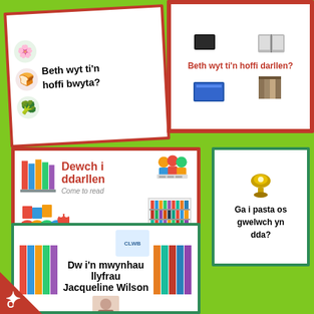[Figure (photo): Welsh language flashcard asking 'Beth wyt ti'n hoffi bwyta?' (What do you like to eat?) with food illustrations, white card with red border on green background]
[Figure (photo): Welsh language flashcard asking 'Beth wyt ti'n hoffi darllen?' (What do you like to read?) with book illustrations, white card with red border on green background]
[Figure (photo): Welsh language flashcard 'Dewch i ddarllen / Come to read' with children reading and bookshelf illustrations, white card with red border]
[Figure (photo): Welsh language flashcard 'Ga i pasta os gwelwch yn dda?' (Can I have pasta please?) rotated 90 degrees, white card with green border]
[Figure (photo): Welsh language flashcard 'Dw i'n mwynhau llyfrau Jacqueline Wilson' (I enjoy Jacqueline Wilson books) with book cover illustrations, white card with green border, red triangle with star C logo in corner]